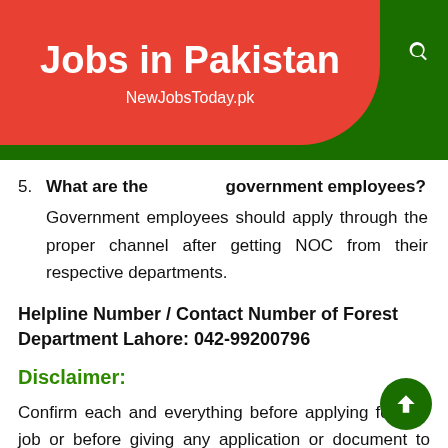Jobs in Pakistan — NewJobsToday.pk
5. What are the rules for government employees? Government employees should apply through the proper channel after getting NOC from their respective departments.
Helpline Number / Contact Number of Forest Department Lahore: 042-99200796
Disclaimer:
Confirm each and everything before applying for any job or before giving any application or document to anyone or an agent. We will not be responsible for any loss or damage.